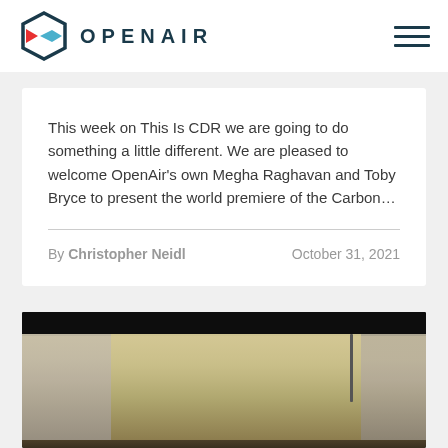OPENAIR
This week on This Is CDR we are going to do something a little different. We are pleased to welcome OpenAir’s own Megha Raghavan and Toby Bryce to present the world premiere of the Carbon…
By Christopher Neidl   October 31, 2021
[Figure (photo): Close-up photo of what appears to be a laboratory or industrial device with a dark top section and transparent/glass containers below, likely carbon capture equipment.]